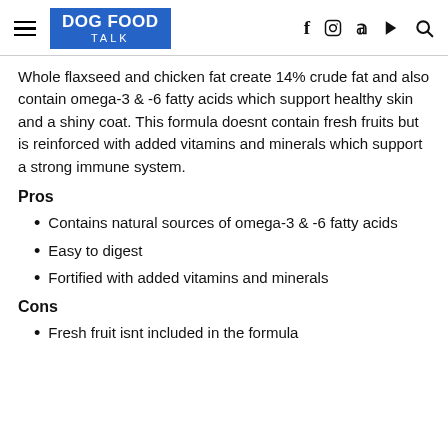DOG FOOD TALK
Whole flaxseed and chicken fat create 14% crude fat and also contain omega-3 & -6 fatty acids which support healthy skin and a shiny coat. This formula doesnt contain fresh fruits but is reinforced with added vitamins and minerals which support a strong immune system.
Pros
Contains natural sources of omega-3 & -6 fatty acids
Easy to digest
Fortified with added vitamins and minerals
Cons
Fresh fruit isnt included in the formula